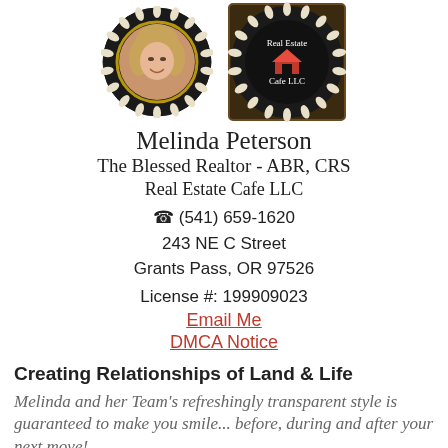[Figure (photo): Profile photo of Melinda Peterson in circular frame with laurel wreath border, and Real Estate Cafe LLC logo in circular frame]
Melinda Peterson
The Blessed Realtor - ABR, CRS
Real Estate Cafe LLC
(541) 659-1620
243 NE C Street
Grants Pass, OR 97526
License #: 199909023
Email Me
DMCA Notice
Creating Relationships of Land & Life
Melinda and her Team's refreshingly transparent style is guaranteed to make you smile... before, during and after your next move!